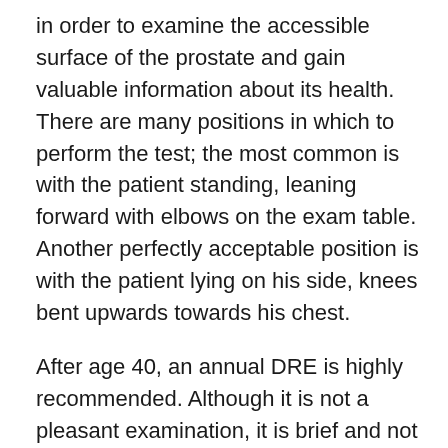in order to examine the accessible surface of the prostate and gain valuable information about its health. There are many positions in which to perform the test; the most common is with the patient standing, leaning forward with elbows on the exam table. Another perfectly acceptable position is with the patient lying on his side, knees bent upwards towards his chest.
After age 40, an annual DRE is highly recommended. Although it is not a pleasant examination, it is brief and not painful. Urologists do not relish performing this exam any more than patients desire receiving it, but it provides essential information that cannot be derived by any other means. If the prostate has an abnormal consistency, a hardness, lump, bump, or simply feels uneven and asymmetrical, it may be a sign of prostate